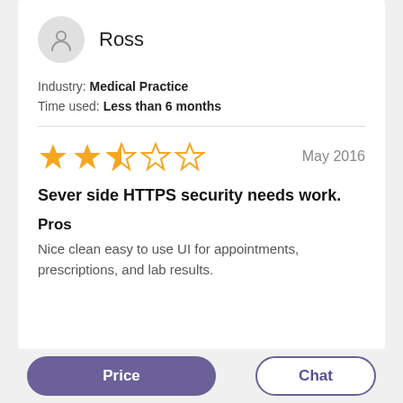Ross
Industry: Medical Practice
Time used: Less than 6 months
★★☆☆☆  May 2016
Sever side HTTPS security needs work.
Pros
Nice clean easy to use UI for appointments, prescriptions, and lab results.
Price
Chat